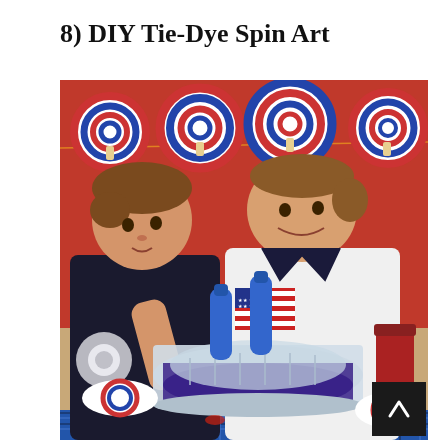8) DIY Tie-Dye Spin Art
[Figure (photo): Two young boys at a table doing a DIY tie-dye spin art craft activity. The boy on the right wears a white American flag t-shirt and the boy on the left wears a dark shirt. They are using blue squeeze bottles to add dye into a salad spinner. Red and white tie-dye paper plate decorations hang on a string against a red wall in the background. The table has various craft supplies including tape, plates, and containers.]